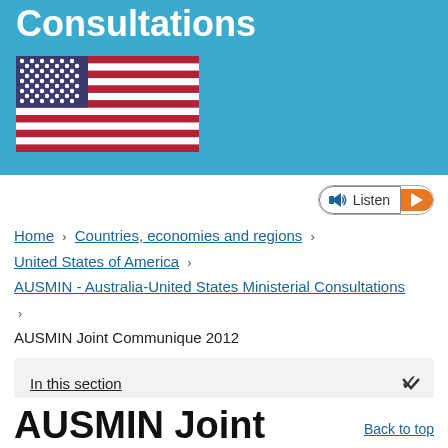Consultations
[Figure (illustration): United States flag (stars and stripes)]
Listen
Home > Countries, economies and regions > United States of America > AUSMIN - Australia-United States Ministerial Consultations > AUSMIN Joint Communique 2012
AUSMIN Joint Communique 2012
In this section
AUSMIN Joint
Back to top